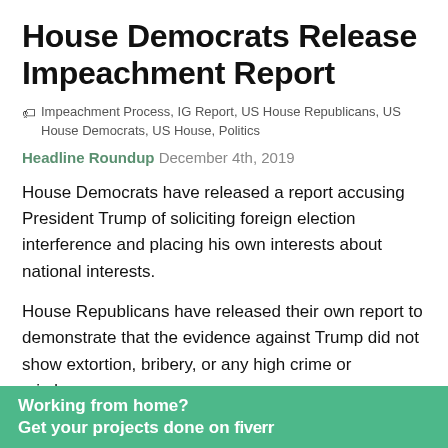House Democrats Release Impeachment Report
Impeachment Process, IG Report, US House Republicans, US House Democrats, US House, Politics
Headline Roundup December 4th, 2019
House Democrats have released a report accusing President Trump of soliciting foreign election interference and placing his own interests about national interests.
House Republicans have released their own report to demonstrate that the evidence against Trump did not show extortion, bribery, or any high crime or misdemeanor.
Working from home? Get your projects done on fiverr